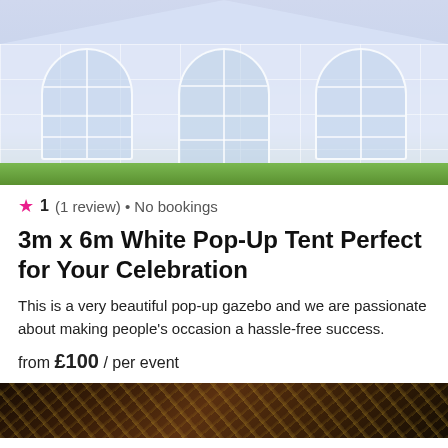[Figure (photo): White pop-up gazebo tent with arched transparent windows, set on green grass]
★ 1 (1 review) • No bookings
3m x 6m White Pop-Up Tent Perfect for Your Celebration
This is a very beautiful pop-up gazebo and we are passionate about making people's occasion a hassle-free success.
from £100 / per event
[Figure (photo): Dark background with gold decorative fringe or ornamental elements]